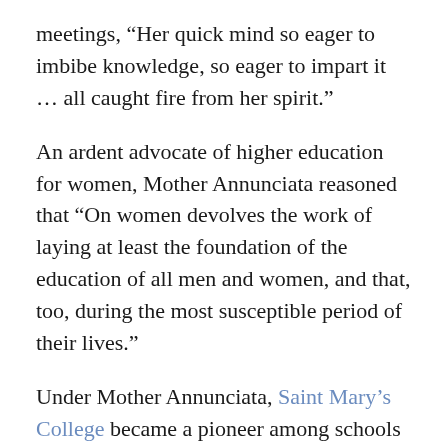meetings, “Her quick mind so eager to imbibe knowledge, so eager to impart it … all caught fire from her spirit.”
An ardent advocate of higher education for women, Mother Annunciata reasoned that “On women devolves the work of laying at least the foundation of the education of all men and women, and that, too, during the most susceptible period of their lives.”
Under Mother Annunciata, Saint Mary’s College became a pioneer among schools for women (and remains so today). She helped make concrete the vision of Mother M. Angela (Gillespie), CSC, to transform the college into an institution for…